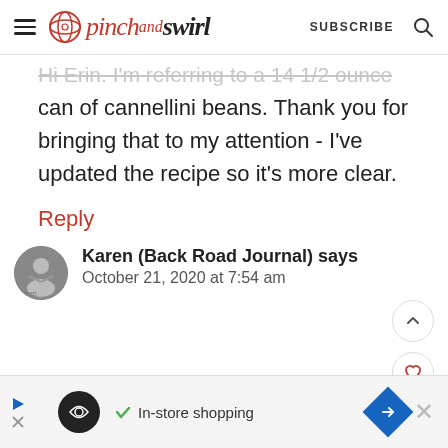pinch and swirl | SUBSCRIBE
Hi Erin. I'm referring to a 14 1/2 ounce can of cannellini beans. Thank you for bringing that to my attention - I've updated the recipe so it's more clear.
Reply
Karen (Back Road Journal) says October 21, 2020 at 7:54 am
[Figure (screenshot): Advertisement bar with logo and In-store shopping text]